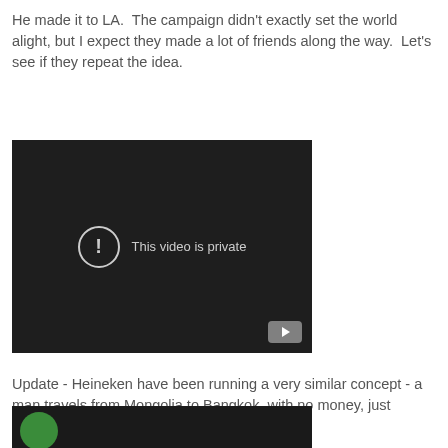He made it to LA.  The campaign didn't exactly set the world alight, but I expect they made a lot of friends along the way.  Let's see if they repeat the idea.
[Figure (screenshot): Embedded video player showing a private video message: circle with exclamation mark icon and text 'This video is private', with a YouTube play button in the bottom right corner.]
Update - Heineken have been running a very similar concept - a man travels from Mongolia to Bangkok, with no money, just Heineken:
[Figure (screenshot): Bottom portion of an embedded video player showing a partial green circle logo at the bottom left, dark background.]